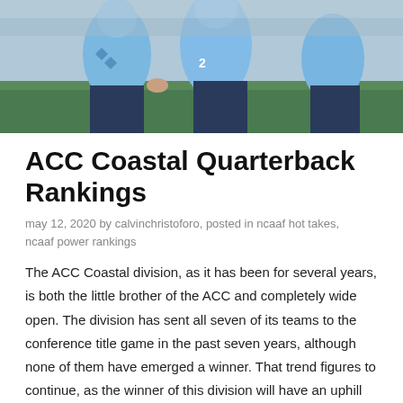[Figure (photo): Football players in light blue uniforms on a field, partial view cropped at top of page]
ACC Coastal Quarterback Rankings
may 12, 2020 by calvinchristoforo, posted in ncaaf hot takes, ncaaf power rankings
The ACC Coastal division, as it has been for several years, is both the little brother of the ACC and completely wide open. The division has sent all seven of its teams to the conference title game in the past seven years, although none of them have emerged a winner. That trend figures to continue, as the winner of this division will have an uphill battle against Clemson, assuming the Tigers hold serve in the